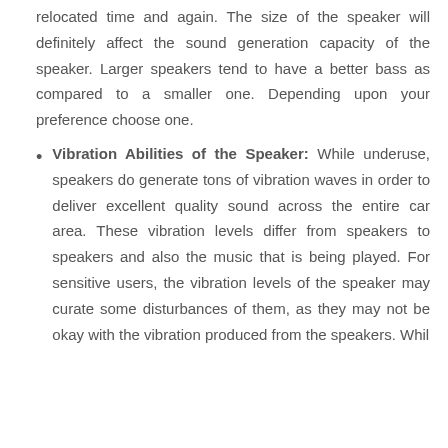relocated time and again. The size of the speaker will definitely affect the sound generation capacity of the speaker. Larger speakers tend to have a better bass as compared to a smaller one. Depending upon your preference choose one.
Vibration Abilities of the Speaker: While underuse, speakers do generate tons of vibration waves in order to deliver excellent quality sound across the entire car area. These vibration levels differ from speakers to speakers and also the music that is being played. For sensitive users, the vibration levels of the speaker may curate some disturbances of them, as they may not be okay with the vibration produced from the speakers. Whil